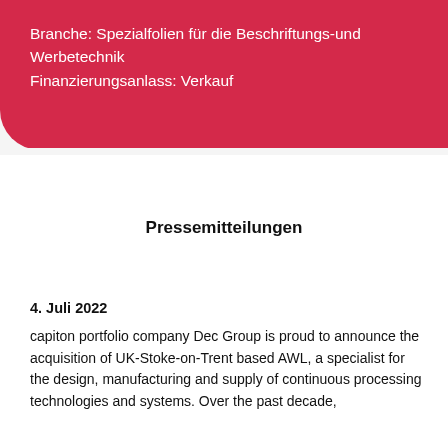Branche: Spezialfolien für die Beschriftungs-und Werbetechnik
Finanzierungsanlass: Verkauf
Pressemitteilungen
4. Juli 2022
capiton portfolio company Dec Group is proud to announce the acquisition of UK-Stoke-on-Trent based AWL, a specialist for the design, manufacturing and supply of continuous processing technologies and systems. Over the past decade,